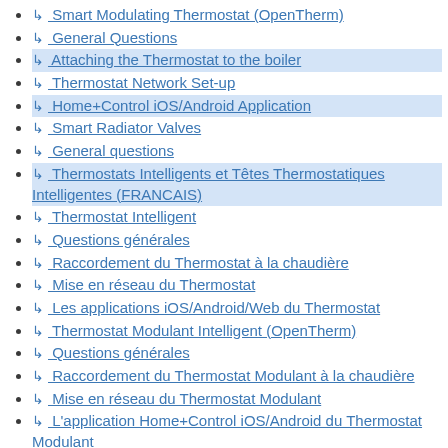↳ Smart Modulating Thermostat (OpenTherm)
↳ General Questions
↳ Attaching the Thermostat to the boiler
↳ Thermostat Network Set-up
↳ Home+Control iOS/Android Application
↳ Smart Radiator Valves
↳ General questions
↳ Thermostats Intelligents et Têtes Thermostatiques Intelligentes (FRANCAIS)
↳ Thermostat Intelligent
↳ Questions générales
↳ Raccordement du Thermostat à la chaudière
↳ Mise en réseau du Thermostat
↳ Les applications iOS/Android/Web du Thermostat
↳ Thermostat Modulant Intelligent (OpenTherm)
↳ Questions générales
↳ Raccordement du Thermostat Modulant à la chaudière
↳ Mise en réseau du Thermostat Modulant
↳ L'application Home+Control iOS/Android du Thermostat Modulant
↳ Têtes Thermostatiques Intelligentes
↳ Questions générales
Air Care